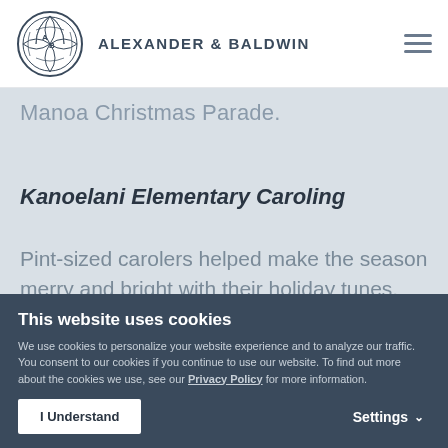ALEXANDER & BALDWIN
Manoa Christmas Parade.
Kanoelani Elementary Caroling
Pint-sized carolers helped make the season merry and bright with their holiday tunes.
[Figure (photo): Green foliage/plants photo strip partially visible]
This website uses cookies
We use cookies to personalize your website experience and to analyze our traffic. You consent to our cookies if you continue to use our website. To find out more about the cookies we use, see our Privacy Policy for more information.
I Understand   Settings